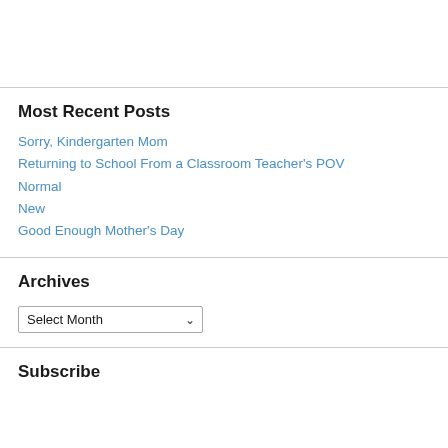Most Recent Posts
Sorry, Kindergarten Mom
Returning to School From a Classroom Teacher's POV
Normal
New
Good Enough Mother's Day
Archives
Select Month
Subscribe